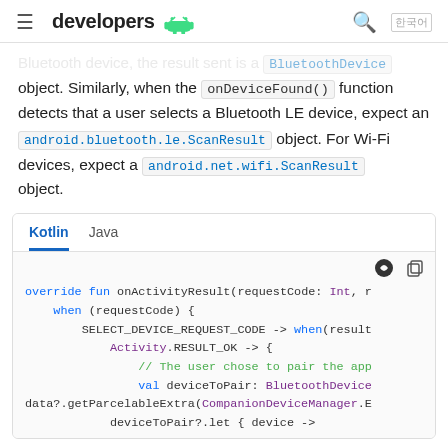developers [android logo]
Bluetooth device, the result sent is a BluetoothDevice object. Similarly, when the onDeviceFound() function detects that a user selects a Bluetooth LE device, expect an android.bluetooth.le.ScanResult object. For Wi-Fi devices, expect a android.net.wifi.ScanResult object.
[Figure (screenshot): Code snippet box with Kotlin and Java tabs. Kotlin tab is active. Code shows: override fun onActivityResult(requestCode: Int, r... when (requestCode) { SELECT_DEVICE_REQUEST_CODE -> when(result... Activity.RESULT_OK -> { // The user chose to pair the app... val deviceToPair: BluetoothDevice... data?.getParcelableExtra(CompanionDeviceManager.E... deviceToPair?.let { device -> ...]